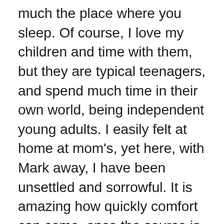much the place where you sleep. Of course, I love my children and time with them, but they are typical teenagers, and spend much time in their own world, being independent young adults. I easily felt at home at mom's, yet here, with Mark away, I have been unsettled and sorrowful. It is amazing how quickly comfort can come, once the source is identified. I was able to share my struggle with my spouse, and he listened and heard my heart. He also is rerouting his plans, and will be doing a quick turn-around on Friday so that he can be in Wenatchee with me for the weekend, rather than wait another week to spend time with one another.
As for adventures in Wenatchee… Mom and